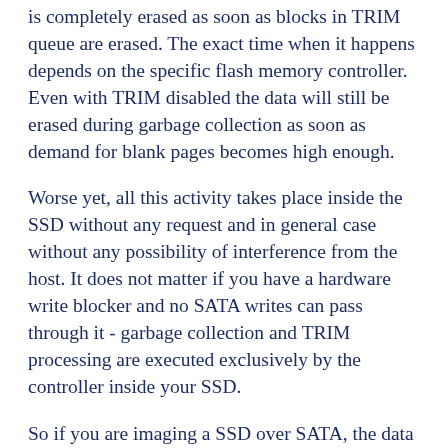is completely erased as soon as blocks in TRIM queue are erased. The exact time when it happens depends on the specific flash memory controller. Even with TRIM disabled the data will still be erased during garbage collection as soon as demand for blank pages becomes high enough.
Worse yet, all this activity takes place inside the SSD without any request and in general case without any possibility of interference from the host. It does not matter if you have a hardware write blocker and no SATA writes can pass through it - garbage collection and TRIM processing are executed exclusively by the controller inside your SSD.
So if you are imaging a SSD over SATA, the data may change midway, or may change between two passes of the imager. If you make two images with write blocker applied, you may find that two images are not identical. There is no general way to avoid this, short of chip-off dumping. Obviously if you read flash memory directly, the change is this case also occurs and